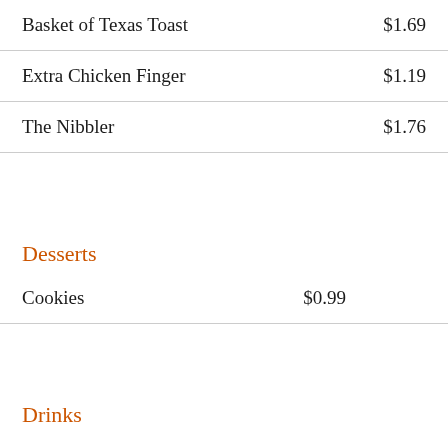Basket of Texas Toast  $1.69
Extra Chicken Finger  $1.19
The Nibbler  $1.76
Desserts
Cookies  $0.99
Drinks